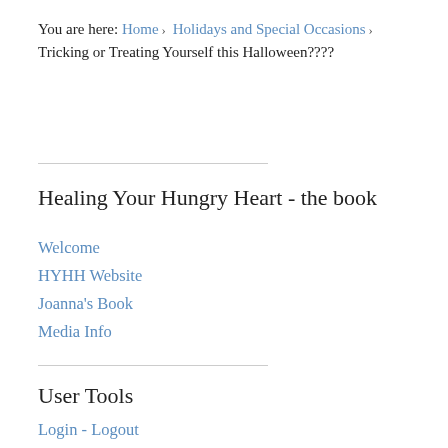You are here: Home › Holidays and Special Occasions › Tricking or Treating Yourself this Halloween????
Healing Your Hungry Heart - the book
Welcome
HYHH Website
Joanna's Book
Media Info
User Tools
Login - Logout
Reset Your Password
Send Registration Reminder